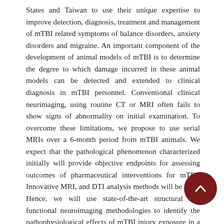States and Taiwan to use their unique expertise to improve detection, diagnosis, treatment and management of mTBI related symptoms of balance disorders, anxiety disorders and migraine. An important component of the development of animal models of mTBI is to determine the degree to which damage incurred in these animal models can be detected and extended to clinical diagnosis in mTBI personnel. Conventional clinical neurimaging, using routine CT or MRI often fails to show signs of abnormality on initial examination. To overcome these limitations, we propose to use serial MRIs over a 6-month period from mTBI animals. We expect that the pathological phenomenon characterized initially will provide objective endpoints for assessing outcomes of pharmaceutical interventions for mTBI. Innovative MRI, and DTI analysis methods will be used. Hence, we will use state-of-the-art structural and functional neuroimaging methodologies to identify the pathophysiological effects of mTBI injury exposure in a subset of animals subjected to mTBI and after new drug treatment. In this project, we are to (1) characterize the abnormalities in spontaneous and evoked brain activity (electrophysiological studies) in mTBI and use source m... to identify the cortical regions implicated in the generation of this activity (2) determine the associations of the selected...